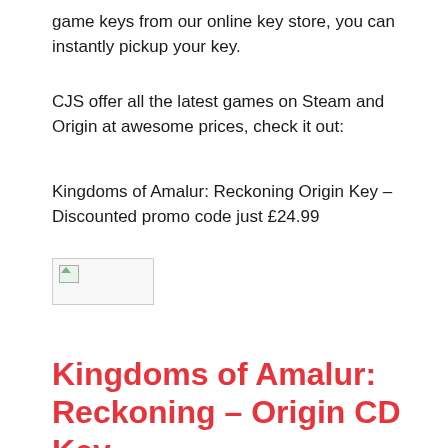game keys from our online key store, you can instantly pickup your key.
CJS offer all the latest games on Steam and Origin at awesome prices, check it out:
Kingdoms of Amalur: Reckoning Origin Key – Discounted promo code just £24.99
[Figure (photo): Broken/missing image placeholder]
Kingdoms of Amalur: Reckoning – Origin CD Key – £24.99